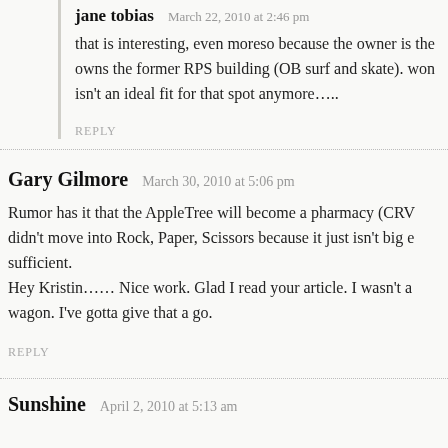jane tobias   March 22, 2010 at 2:46 pm
that is interesting, even moreso because the owner is the… owns the former RPS building (OB surf and skate). won… isn't an ideal fit for that spot anymore…..
REPLY
Gary Gilmore   March 30, 2010 at 5:06 pm
Rumor has it that the AppleTree will become a pharmacy (CRV… didn't move into Rock, Paper, Scissors because it just isn't big e… sufficient.
Hey Kristin…… Nice work. Glad I read your article. I wasn't a… wagon. I've gotta give that a go.
REPLY
Sunshine   April 2, 2010 at 5:13 am